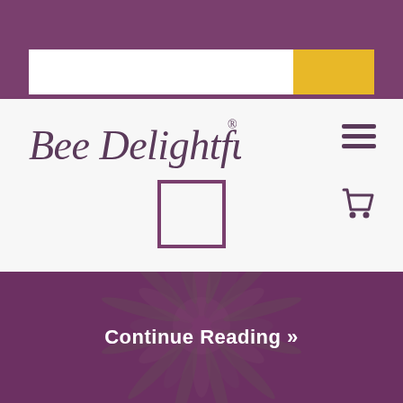[Figure (screenshot): Purple top bar with search input and yellow search button]
[Figure (logo): Bee Delightful cursive logo in dark purple on white navigation bar with hamburger menu icon on the right]
[Figure (infographic): White navigation bar with a square checkbox icon in the center and a shopping cart icon on the right]
[Figure (photo): Close-up of a cannabis flower with purple/magenta overlay and 'Continue Reading >>' text centered in white]
Continue Reading »